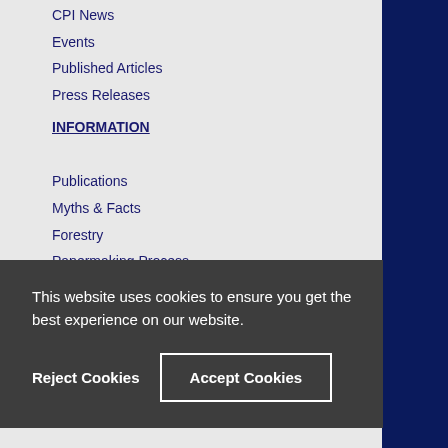CPI News
Events
Published Articles
Press Releases
INFORMATION
Publications
Myths & Facts
Forestry
Papermaking Process
Recycling
Tissue
This website uses cookies to ensure you get the best experience on our website.
Reject Cookies
Accept Cookies